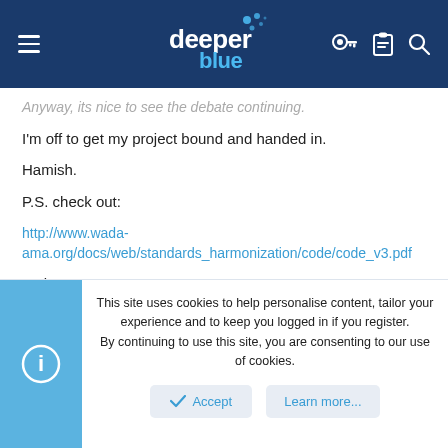deeper blue (navigation header)
Anyway, its nice to see the debate continuing.
I'm off to get my project bound and handed in.
Hamish.
P.S. check out:
http://www.wada-ama.org/docs/web/standards_harmonization/code/code_v3.pdf
and
http://www.wada-ama.org/docs/web/standards_harmonization/code/testing_v2.pdf
This site uses cookies to help personalise content, tailor your experience and to keep you logged in if you register.
By continuing to use this site, you are consenting to our use of cookies.